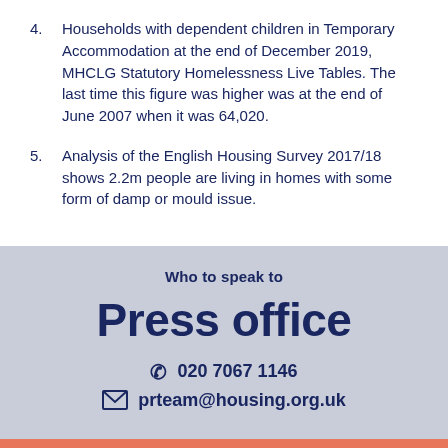4. Households with dependent children in Temporary Accommodation at the end of December 2019, MHCLG Statutory Homelessness Live Tables. The last time this figure was higher was at the end of June 2007 when it was 64,020.
5. Analysis of the English Housing Survey 2017/18 shows 2.2m people are living in homes with some form of damp or mould issue.
Who to speak to
Press office
020 7067 1146
prteam@housing.org.uk